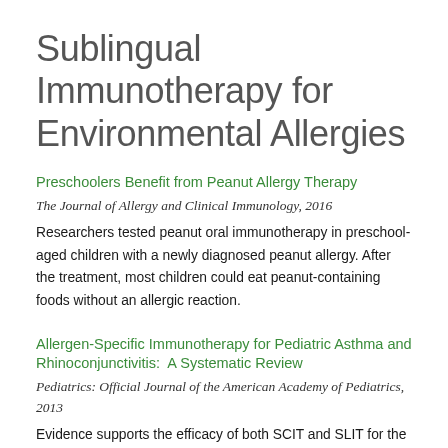Sublingual Immunotherapy for Environmental Allergies
Preschoolers Benefit from Peanut Allergy Therapy
The Journal of Allergy and Clinical Immunology, 2016
Researchers tested peanut oral immunotherapy in preschool-aged children with a newly diagnosed peanut allergy. After the treatment, most children could eat peanut-containing foods without an allergic reaction.
Allergen-Specific Immunotherapy for Pediatric Asthma and Rhinoconjunctivitis:  A Systematic Review
Pediatrics: Official Journal of the American Academy of Pediatrics, 2013
Evidence supports the efficacy of both SCIT and SLIT for the treatment of asthma and rhinitis in children.